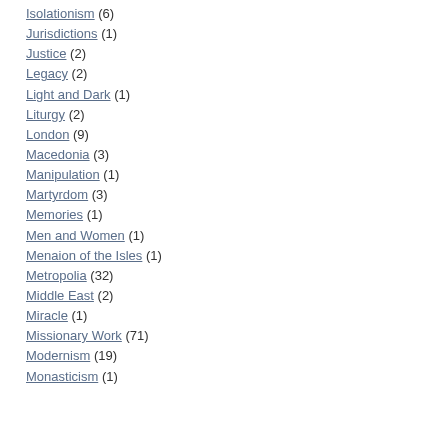Isolationism (6)
Jurisdictions (1)
Justice (2)
Legacy (2)
Light and Dark (1)
Liturgy (2)
London (9)
Macedonia (3)
Manipulation (1)
Martyrdom (3)
Memories (1)
Men and Women (1)
Menaion of the Isles (1)
Metropolia (32)
Middle East (2)
Miracle (1)
Missionary Work (71)
Modernism (19)
Monasticism (1)